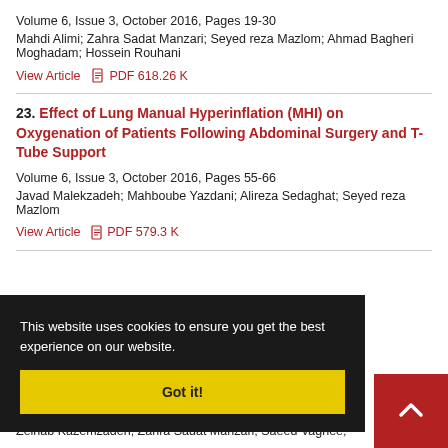Volume 6, Issue 3, October 2016, Pages 19-30
Mahdi Alimi; Zahra Sadat Manzari; Seyed reza Mazlom; Ahmad Bagheri Moghadam; Hossein Rouhani
View Article  PDF 618.26 K
23. Effect of Lung Manual Hyperinflation (MHI) on Oxygenation of Patients Following Abdominal Surgery and T-Tube Support
Volume 6, Issue 3, October 2016, Pages 55-66
Javad Malekzadeh; Mahboube Yazdani; Alireza Sedaghat; Seyed reza Mazlom
View Article  PDF 579.3 K
24. ...g-Counseling ...Patients
Zeinab Kazemzadeh; Zahra Sadat Manzari; Saeed Vaghee;
This website uses cookies to ensure you get the best experience on our website.
Got it!